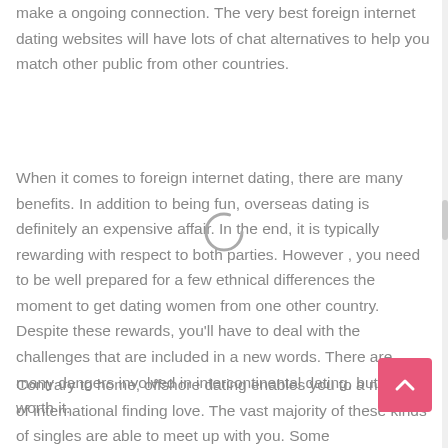make a ongoing connection. The very best foreign internet dating websites will have lots of chat alternatives to help you match other public from other countries.
When it comes to foreign internet dating, there are many benefits. In addition to being fun, overseas dating is definitely an expensive affair. In the end, it is typically rewarding with respect to both parties. However , you need to be well prepared for a few ethnical differences the moment to get dating women from one other country. Despite these rewards, you'll have to deal with the challenges that are included in a new words. There are many dangers involved in intercontinental dating, but are worth it.
Contrary to home, offshore dating enables you to a number of international finding love. The vast majority of these kinds of singles are able to meet up with you. Some